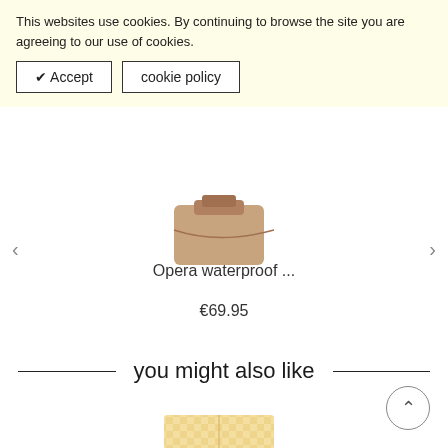This websites use cookies. By continuing to browse the site you are agreeing to our use of cookies.
✔ Accept   cookie policy
euro.
[Figure (photo): Partial view of a product (appears to be a bag) in tan/brown color, cropped at top of frame]
Opera waterproof ...
€69.95
you might also like
[Figure (photo): Partial view of a yellow/beige gingham check patterned bag product]